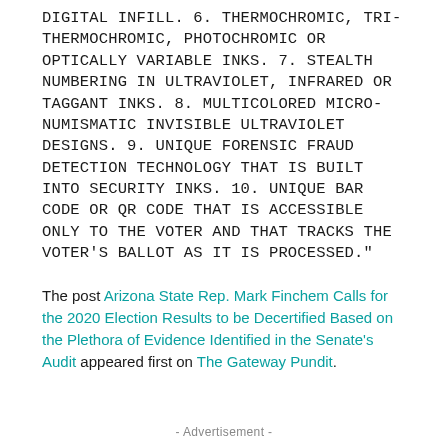DIGITAL INFILL. 6. THERMOCHROMIC, TRI-THERMOCHROMIC, PHOTOCHROMIC OR OPTICALLY VARIABLE INKS. 7. STEALTH NUMBERING IN ULTRAVIOLET, INFRARED OR TAGGANT INKS. 8. MULTICOLORED MICRO-NUMISMATIC INVISIBLE ULTRAVIOLET DESIGNS. 9. UNIQUE FORENSIC FRAUD DETECTION TECHNOLOGY THAT IS BUILT INTO SECURITY INKS. 10. UNIQUE BAR CODE OR QR CODE THAT IS ACCESSIBLE ONLY TO THE VOTER AND THAT TRACKS THE VOTER'S BALLOT AS IT IS PROCESSED."
The post Arizona State Rep. Mark Finchem Calls for the 2020 Election Results to be Decertified Based on the Plethora of Evidence Identified in the Senate's Audit appeared first on The Gateway Pundit.
- Advertisement -